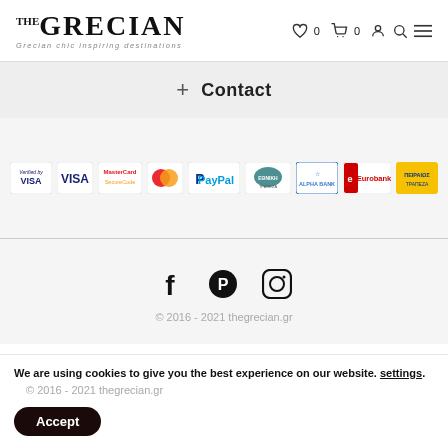THE GRECIAN — Grecian chic inspiring destinations
+ Contact
[Figure (logo): Payment method logos: Verified by Visa, Visa, MasterCard SecureCode, MasterCard, PayPal, Ethniki Trapeza, Alpha Bank, Eurobank, Piraeus Bank]
[Figure (infographic): Social media icons: Facebook, Pinterest, Instagram]
© 2016 - 2021 thegrecian.gr
We are using cookies to give you the best experience on our website. settings.
Accept